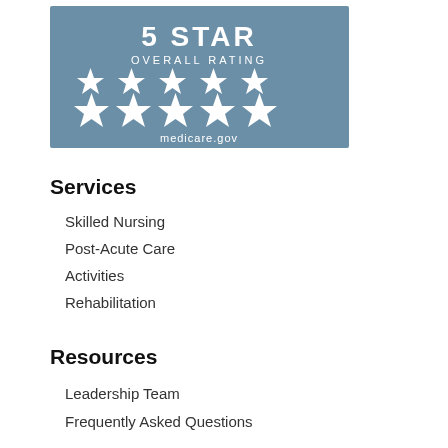[Figure (infographic): 5 Star Overall Rating badge from medicare.gov showing 5 white stars on a steel-blue background]
Services
Skilled Nursing
Post-Acute Care
Activities
Rehabilitation
Resources
Leadership Team
Frequently Asked Questions